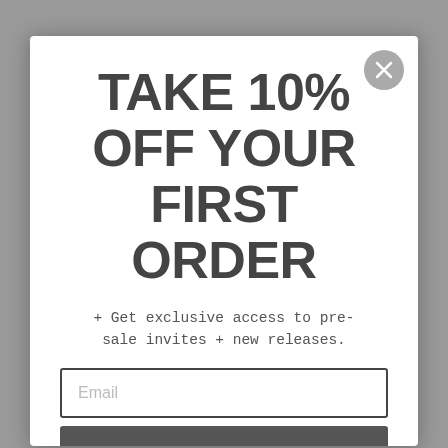TAKE 10% OFF YOUR FIRST ORDER
+ Get exclusive access to pre-sale invites + new releases.
Email
GET CODE
By completing this form you are signing up to receive our emails and can unsubscribe at any time.